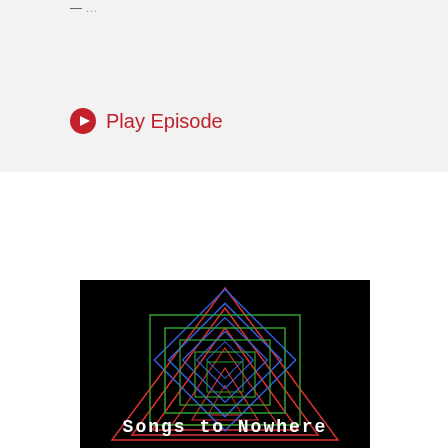— ...
Play Episode
[Figure (illustration): Album artwork for 'Songs to Nowhere' — black background with concentric geometric shapes (triangles, squares, diamonds) in red, blue, and green neon lines, with white typewriter-style text reading 'Songs to Nowhere' at the bottom.]